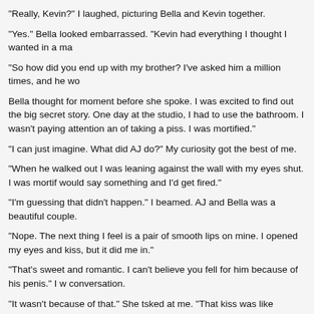“Really, Kevin?” I laughed, picturing Bella and Kevin together.
“Yes.” Bella looked embarrassed. “Kevin had everything I thought I wanted in a ma…
“So how did you end up with my brother? I’ve asked him a million times, and he wo…
Bella thought for moment before she spoke. I was excited to find out the big secret story. One day at the studio, I had to use the bathroom. I wasn’t paying attention an… of taking a piss. I was mortified.”
“I can just imagine. What did AJ do?” My curiosity got the best of me.
“When he walked out I was leaning against the wall with my eyes shut. I was morti… would say something and I’d get fired.”
“I’m guessing that didn’t happen.” I beamed. AJ and Bella was a beautiful couple.
“Nope. The next thing I feel is a pair of smooth lips on mine. I opened my eyes and… kiss, but it did me in.”
“That’s sweet and romantic. I can’t believe you fell for him because of his penis.” I w… conversation.
“It wasn’t because of that.” She tsked at me. “That kiss was like nothing I ever expe… dinner.”
“I’m sure that’s all you did.”◆ I giggled. I loved spending time with my sister-in-law. sharing secrets.
“Well we never did eat dinner that night. Alex and I didn’t make it past the living roo…
I was grossed out. “Spare me the details of your sex life. I don’t want to picture my…